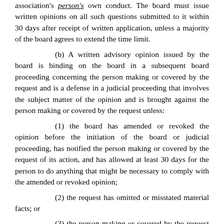association's person's own conduct. The board must issue written opinions on all such questions submitted to it within 30 days after receipt of written application, unless a majority of the board agrees to extend the time limit.
(b) A written advisory opinion issued by the board is binding on the board in a subsequent board proceeding concerning the person making or covered by the request and is a defense in a judicial proceeding that involves the subject matter of the opinion and is brought against the person making or covered by the request unless:
(1) the board has amended or revoked the opinion before the initiation of the board or judicial proceeding, has notified the person making or covered by the request of its action, and has allowed at least 30 days for the person to do anything that might be necessary to comply with the amended or revoked opinion;
(2) the request has omitted or misstated material facts; or
(3) the person making or covered by the request has not acted in good faith in reliance on the opinion.
(c) A request for an opinion and the opinion itself